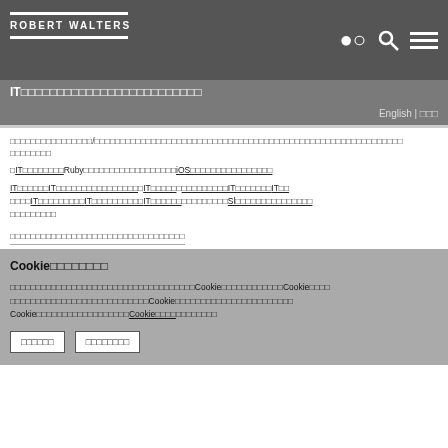ROBERT WALTERS
IT□□□□□□□□□□□□□□□□□□□□□□□□□
English | □□□
□□□□□□□□□□□□□□□□/□□□□□□□□□□□□□□□□□□□□□□□□□□□□□□□□□□□□□□□□□□□□□□□□□□□□□□□□□□□□
□IT□□□□□□□□Ruby□□□□□□□□□□□□□□□□□□iOS□□□□□□□□□□□□□□□□
IT□□□□□□IT□□□□□□□□□□□□□□□□□IT□□□□□□□□□□□□□□□IT□□□□□□□□IT□□□□IT□□□□□□□□□IT□□□□□□□□□□IT□□□□□□□□IT□□□□□□□□□□□□□SL□□□□□□□□□□□□□□□□□□□□□□
□□□□□□□□□□□□□□□□□□□□□□□□□□□□□□□□□□
Cookie□□□□□□□□
□□□□□□□□□□□□□□□□□□□□□□□□□□□□□□□□□□□□□Cookie□□□□□□□□□□□□□Cookie□□□□□□□□□□□□□□□□□□□□□□□□□□□□Cookie□□□□□□□□□□□□□□□□□□□□□□Cookie□□□□□□□□□□□□□□□□□□Cookie□□□□□□□□□□
□□□□□□
□□□□□□□□